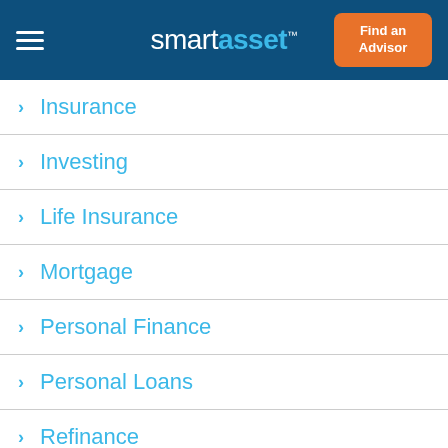smartasset
Insurance
Investing
Life Insurance
Mortgage
Personal Finance
Personal Loans
Refinance
Retirement
Small Business
Student Loans